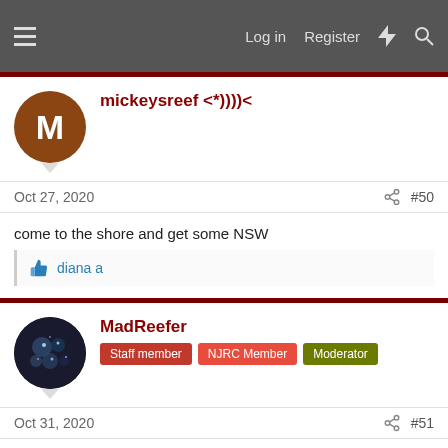Log in  Register
mickeysreef <*))))<
Oct 27, 2020  #50
come to the shore and get some NSW
diana a
MadReefer  Staff member  NJRC Member  Moderator
Oct 31, 2020  #51
Did a 5g water change this morning and have to say the sand is pretty clean.